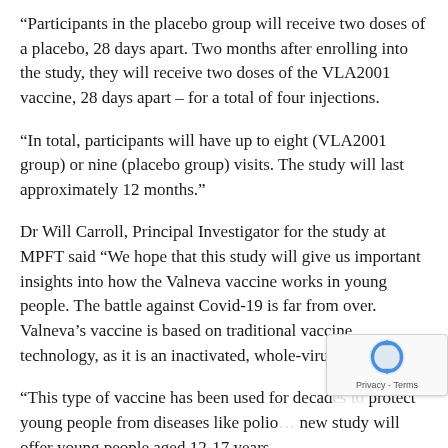“Participants in the placebo group will receive two doses of a placebo, 28 days apart. Two months after enrolling into the study, they will receive two doses of the VLA2001 vaccine, 28 days apart – for a total of four injections.
“In total, participants will have up to eight (VLA2001 group) or nine (placebo group) visits. The study will last approximately 12 months.”
Dr Will Carroll, Principal Investigator for the study at MPFT said “We hope that this study will give us important insights into how the Valneva vaccine works in young people. The battle against Covid-19 is far from over. Valneva’s vaccine is based on traditional vaccine technology, as it is an inactivated, whole-virus vaccine.
“This type of vaccine has been used for decades to protect young people from diseases like polio… new study will offer young people aged 12-17 years…